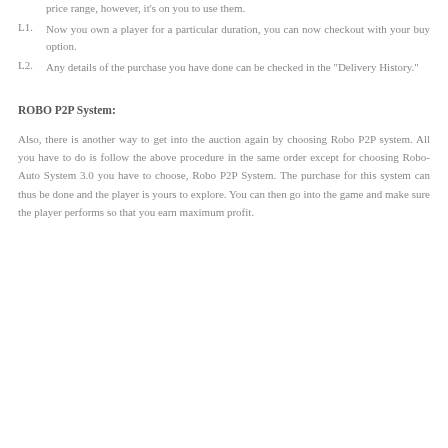price range, however, it's on you to use them.
L1. Now you own a player for a particular duration, you can now checkout with your buy option.
L2. Any details of the purchase you have done can be checked in the "Delivery History."
ROBO P2P System:
Also, there is another way to get into the auction again by choosing Robo P2P system. All you have to do is follow the above procedure in the same order except for choosing Robo-Auto System 3.0 you have to choose, Robo P2P System. The purchase for this system can thus be done and the player is yours to explore. You can then go into the game and make sure the player performs so that you earn maximum profit.